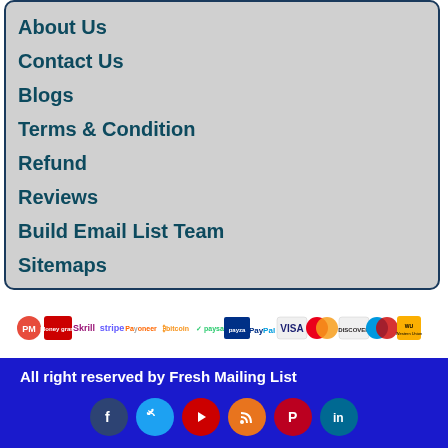About Us
Contact Us
Blogs
Terms & Condition
Refund
Reviews
Build Email List Team
Sitemaps
[Figure (logo): Payment method logos: PM, Moneygram, Skrill, stripe, Payoneer, Bitcoin, Paysa, Payza, PayPal, VISA, Mastercard, Discover, Maestro, Western Union, Amex, bank icon]
All right reserved by Fresh Mailing List
[Figure (infographic): Social media icons: Facebook, Twitter, YouTube, RSS, Pinterest, LinkedIn]